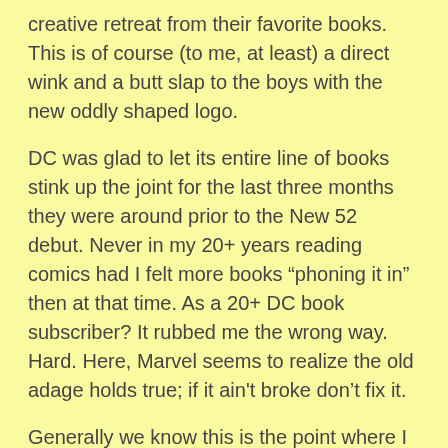creative retreat from their favorite books. This is of course (to me, at least) a direct wink and a butt slap to the boys with the new oddly shaped logo.
DC was glad to let its entire line of books stink up the joint for the last three months they were around prior to the New 52 debut. Never in my 20+ years reading comics had I felt more books “phoning it in” then at that time. As a 20+ DC book subscriber? It rubbed me the wrong way. Hard. Here, Marvel seems to realize the old adage holds true; if it ain't broke don’t fix it.
Generally we know this is the point where I play devil’s advocate. And I see by the folding chair in your outstretched arms, ready to strike me where I type, I’d better get on with the “Howevers…” or else. Now, Marvel Now is just an on-paper-plan at this point. Even with that said, it’s hard not to notice a few things that reek of desperation. I love Brian Posehn. I do. But does anyone here honestly wish to place a wager on how